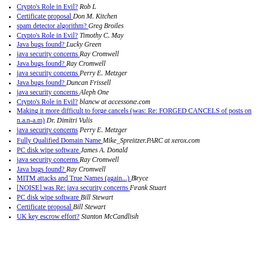Crypto's Role in Evil?  Rob L
Certificate proposal  Don M. Kitchen
spam detector algorithm?  Greg Broiles
Crypto's Role in Evil?  Timothy C. May
Java bugs found?  Lucky Green
java security concerns  Ray Cromwell
Java bugs found?  Ray Cromwell
java security concerns  Perry E. Metzger
Java bugs found?  Duncan Frissell
java security concerns  Aleph One
Crypto's Role in Evil?  blancw at accessone.com
Making it more difficult to forge cancels (was: Re: FORGED CANCELS of posts on n.a.n-a.m)  Dr. Dimitri Vulis
java security concerns  Perry E. Metzger
Fully Qualified Domain Name  Mike_Spreitzer.PARC at xerox.com
PC disk wipe software  James A. Donald
java security concerns  Ray Cromwell
Java bugs found?  Ray Cromwell
MITM attacks and True Names (again...)  Bryce
[NOISE] was Re: java security concerns  Frank Stuart
PC disk wipe software  Bill Stewart
Certificate proposal  Bill Stewart
UK key escrow effort?  Stanton McCandlish